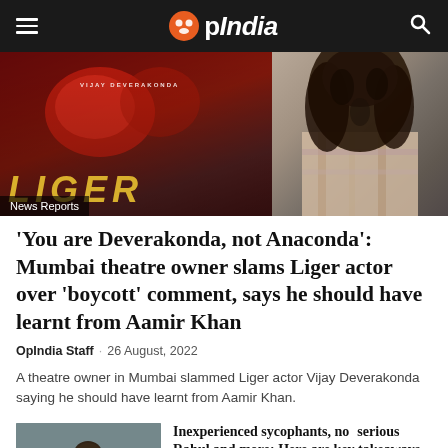OpIndia
[Figure (photo): Hero images: Left - Liger movie poster with Vijay Deverakonda and boxing gloves in red tones; Right - person with curly hair seen from behind wearing plaid shirt. News Reports badge overlay on left image.]
News Reports
'You are Deverakonda, not Anaconda': Mumbai theatre owner slams Liger actor over 'boycott' comment, says he should have learnt from Aamir Khan
OpIndia Staff · 26 August, 2022
A theatre owner in Mumbai slammed Liger actor Vijay Deverakonda saying he should have learnt from Aamir Khan.
[Figure (photo): Thumbnail photo of Congress politicians including Rahul Gandhi in a meeting setting]
Inexperienced sycophants, not serious Rahul and more: Here are key takeaways from the resignation letter of Congress leader Ghulam Nabi Azad